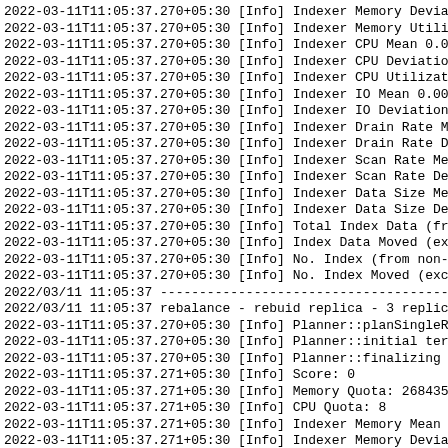2022-03-11T11:05:37.270+05:30 [Info] Indexer Memory Devia
2022-03-11T11:05:37.270+05:30 [Info] Indexer Memory Utili
2022-03-11T11:05:37.270+05:30 [Info] Indexer CPU Mean 0.0
2022-03-11T11:05:37.270+05:30 [Info] Indexer CPU Deviatio
2022-03-11T11:05:37.270+05:30 [Info] Indexer CPU Utilizat
2022-03-11T11:05:37.270+05:30 [Info] Indexer IO Mean 0.00
2022-03-11T11:05:37.270+05:30 [Info] Indexer IO Deviation
2022-03-11T11:05:37.270+05:30 [Info] Indexer Drain Rate M
2022-03-11T11:05:37.270+05:30 [Info] Indexer Drain Rate D
2022-03-11T11:05:37.270+05:30 [Info] Indexer Scan Rate Me
2022-03-11T11:05:37.270+05:30 [Info] Indexer Scan Rate De
2022-03-11T11:05:37.270+05:30 [Info] Indexer Data Size Me
2022-03-11T11:05:37.270+05:30 [Info] Indexer Data Size De
2022-03-11T11:05:37.270+05:30 [Info] Total Index Data (fr
2022-03-11T11:05:37.270+05:30 [Info] Index Data Moved (ex
2022-03-11T11:05:37.270+05:30 [Info] No. Index (from non-
2022-03-11T11:05:37.270+05:30 [Info] No. Index Moved (exc
2022/03/11 11:05:37 ----------------------------------------
2022/03/11 11:05:37 rebalance - rebuid replica - 3 replic
2022-03-11T11:05:37.270+05:30 [Info] Planner::planSingleR
2022-03-11T11:05:37.270+05:30 [Info] Planner::initial ter
2022-03-11T11:05:37.270+05:30 [Info] Planner::finalizing
2022-03-11T11:05:37.271+05:30 [Info] Score: 0
2022-03-11T11:05:37.271+05:30 [Info] Memory Quota: 268435
2022-03-11T11:05:37.271+05:30 [Info] CPU Quota: 8
2022-03-11T11:05:37.271+05:30 [Info] Indexer Memory Mean
2022-03-11T11:05:37.271+05:30 [Info] Indexer Memory Devia
2022-03-11T11:05:37.271+05:30 [Info] Indexer Memory Utili
2022-03-11T11:05:37.271+05:30 [Info] Indexer CPU Mean 0.0
2022-03-11T11:05:37.271+05:30 [Info] Indexer CPU Deviatio